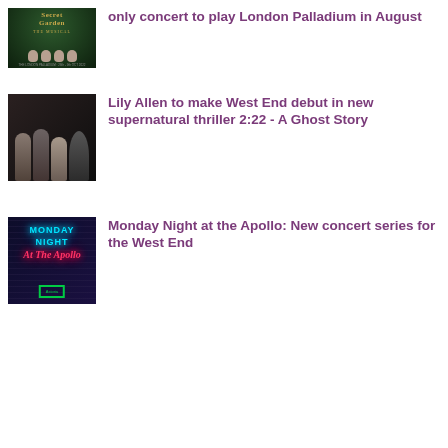[Figure (photo): The Secret Garden The Musical promotional image with dark green background, cast members shown at bottom, London Palladium venue text]
only concert to play London Palladium in August
[Figure (photo): 2:22 A Ghost Story promotional image showing four cast members in dark moody lighting]
Lily Allen to make West End debut in new supernatural thriller 2:22 - A Ghost Story
[Figure (photo): Monday Night at the Apollo neon sign promotional image with blue and pink neon lettering on brick wall background]
Monday Night at the Apollo: New concert series for the West End